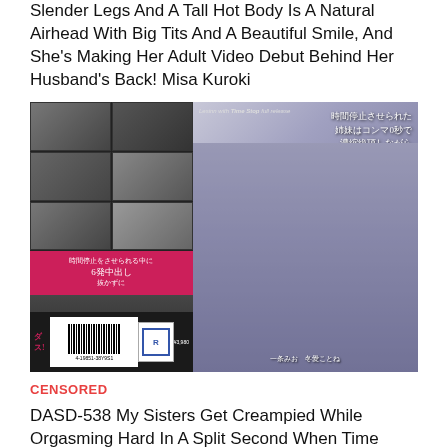Slender Legs And A Tall Hot Body Is A Natural Airhead With Big Tits And A Beautiful Smile, And She's Making Her Adult Video Debut Behind Her Husband's Back! Misa Kuroki
[Figure (photo): DVD cover image with collage of scenes on left side and two young women on right side, with Japanese text overlays. Pink and dark banner at bottom with barcode.]
CENSORED
DASD-538 My Sisters Get Creampied While Orgasming Hard In A Split Second When Time Stops Kotone To...